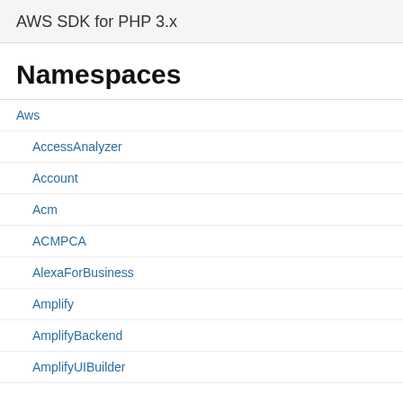AWS SDK for PHP 3.x
Namespaces
Aws
AccessAnalyzer
Account
Acm
ACMPCA
AlexaForBusiness
Amplify
AmplifyBackend
AmplifyUIBuilder
Api
ApiGateway
ApiGatewayManagementApi
Aws\Credentials\Creden... with an Aws\Exception\Cr...
Aws\Credentials\Credentials - Basic implementation of the that allows callers to pass in AWS Secret Access Key in
Aws\Credentials\EcsCrede... - Credential provider that fetc... request. ECS environment ... constructing request URI.
Aws\Credentials\InstanceP... - Credential provider that pro... EC2 metadata service.
Aws\Crypto\AesDecrypting...
Aws\Crypto\AesEncrypting...